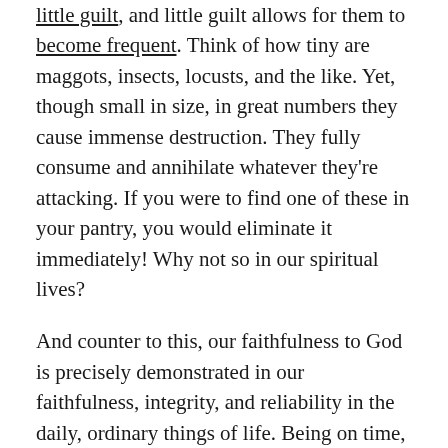little guilt, and little guilt allows for them to become frequent. Think of how tiny are maggots, insects, locusts, and the like. Yet, though small in size, in great numbers they cause immense destruction. They fully consume and annihilate whatever they're attacking. If you were to find one of these in your pantry, you would eliminate it immediately! Why not so in our spiritual lives?

And counter to this, our faithfulness to God is precisely demonstrated in our faithfulness, integrity, and reliability in the daily, ordinary things of life. Being on time, praying, respecting others, taking short moments to be with God, and being honest, loving, and caring with others in seemingly insignificant events in our lives, can be the truest test of our trustworthiness,